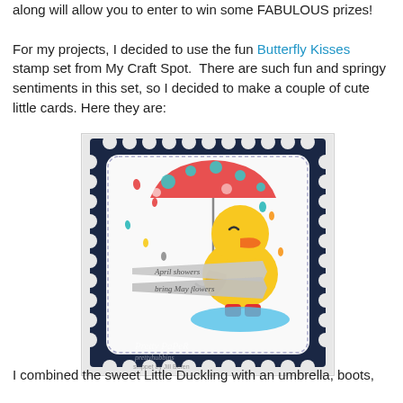along will allow you to enter to win some FABULOUS prizes!

For my projects, I decided to use the fun Butterfly Kisses stamp set from My Craft Spot.  There are such fun and springy sentiments in this set, so I decided to make a couple of cute little cards. Here they are:
[Figure (photo): A handmade greeting card shaped like a postage stamp with a dark navy scalloped border. Inside is a cute yellow duck holding a colorful polka-dot umbrella with colorful rain drops falling. The duck is standing in a blue puddle wearing red boots. Two banner ribbons read 'April showers bring May flowers'. A watermark reads 'Pretty Paper' and 'Prettyhubbins'.]
I combined the sweet Little Duckling with an umbrella, boots,